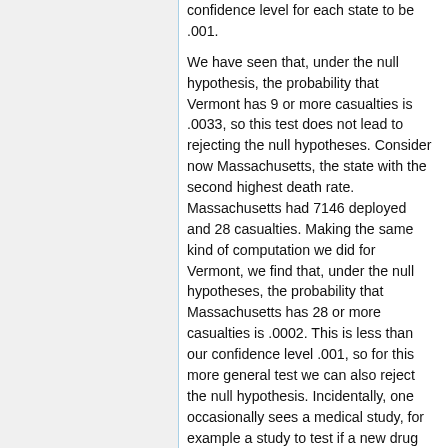confidence level for each state to be .001. We have seen that, under the null hypothesis, the probability that Vermont has 9 or more casualties is .0033, so this test does not lead to rejecting the null hypotheses. Consider now Massachusetts, the state with the second highest death rate. Massachusetts had 7146 deployed and 28 casualties. Making the same kind of computation we did for Vermont, we find that, under the null hypotheses, the probability that Massachusetts has 28 or more casualties is .0002. This is less than our confidence level .001, so for this more general test we can also reject the null hypothesis. Incidentally, one occasionally sees a medical study, for example a study to test if a new drug is